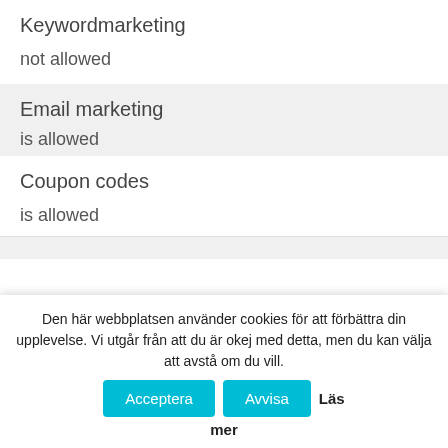Keywordmarketing
not allowed
Email marketing
is allowed
Coupon codes
is allowed
Den här webbplatsen använder cookies för att förbättra din upplevelse. Vi utgår från att du är okej med detta, men du kan välja att avstå om du vill. Läs mer